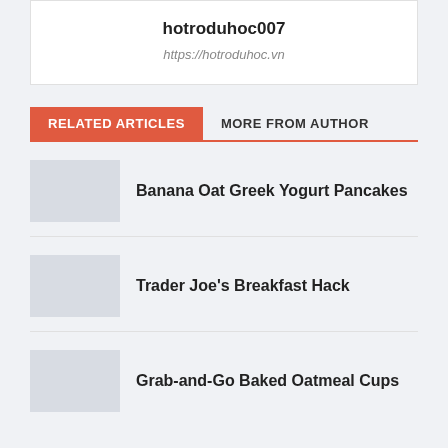hotroduhoc007
https://hotroduhoc.vn
RELATED ARTICLES
MORE FROM AUTHOR
Banana Oat Greek Yogurt Pancakes
Trader Joe's Breakfast Hack
Grab-and-Go Baked Oatmeal Cups